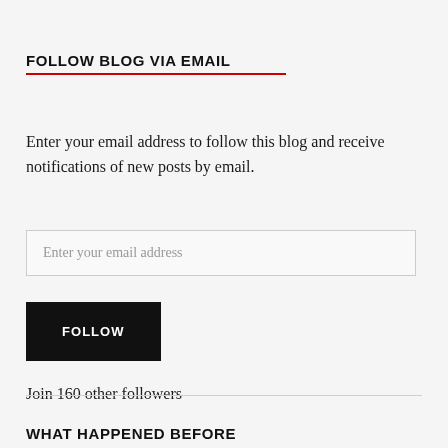FOLLOW BLOG VIA EMAIL
Enter your email address to follow this blog and receive notifications of new posts by email.
Join 160 other followers
WHAT HAPPENED BEFORE